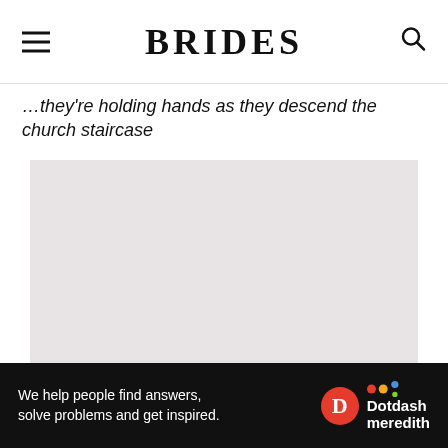BRIDES
…they're holding hands as they descend the church staircase
[Figure (photo): Gray placeholder area representing a wedding photo of couple descending church staircase]
We help people find answers, solve problems and get inspired. Dotdash meredith